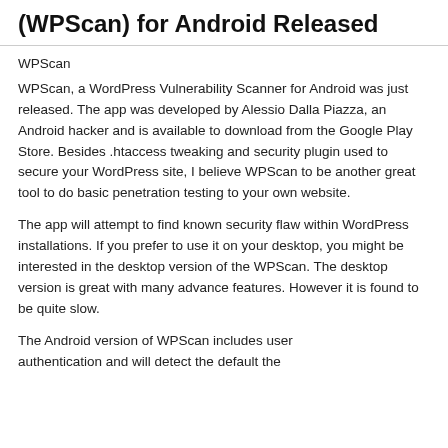(WPScan) for Android Released
WPScan
WPScan, a WordPress Vulnerability Scanner for Android was just released. The app was developed by Alessio Dalla Piazza, an Android hacker and is available to download from the Google Play Store. Besides .htaccess tweaking and security plugin used to secure your WordPress site, I believe WPScan to be another great tool to do basic penetration testing to your own website.
The app will attempt to find known security flaw within WordPress installations. If you prefer to use it on your desktop, you might be interested in the desktop version of the WPScan. The desktop version is great with many advance features. However it is found to be quite slow.
The Android version of WPScan includes user authentication and will detect the default theme...